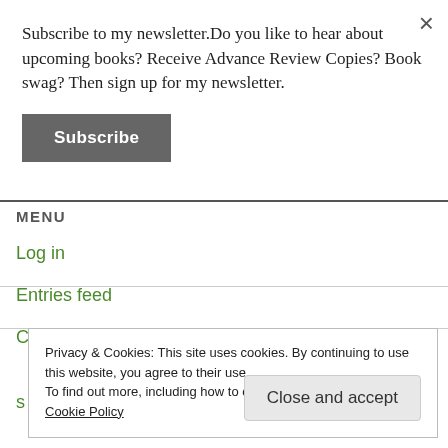×
Subscribe to my newsletter.Do you like to hear about upcoming books? Receive Advance Review Copies? Book swag? Then sign up for my newsletter.
Subscribe
MENU
Log in
Entries feed
Comments feed
Privacy & Cookies: This site uses cookies. By continuing to use this website, you agree to their use.
To find out more, including how to control cookies, see here: Cookie Policy
Close and accept